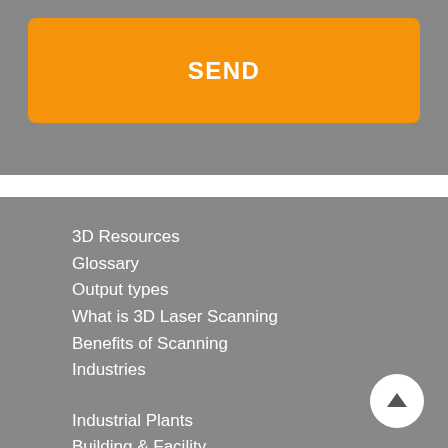[Figure (screenshot): Orange SEND button on a grey background card]
3D Resources
Glossary
Output types
What is 3D Laser Scanning
Benefits of Scanning
Industries
Industrial Plants
Building & Facility
As-built 3D CAD
Vehicles & Large Obj.